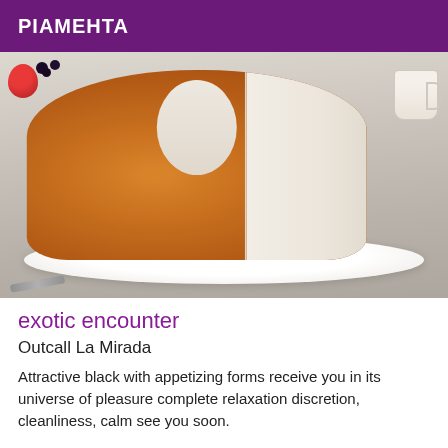PIAMEHTA
[Figure (photo): Angel food cake with a slice cut out on a white plate, with berries in the background]
exotic encounter
Outcall La Mirada
Attractive black with appetizing forms receive you in its universe of pleasure complete relaxation discretion, cleanliness, calm see you soon.